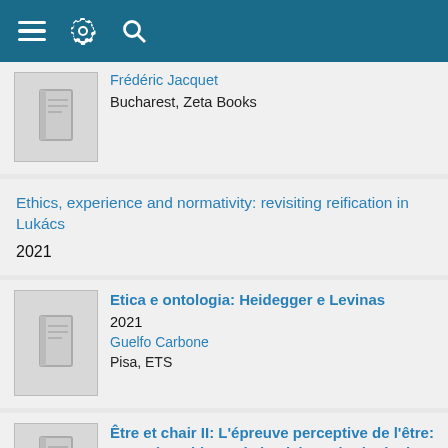[Figure (screenshot): Mobile app top navigation bar with hamburger menu, settings gear icon, and search icon on teal/dark blue background]
Frédéric Jacquet
Bucharest, Zeta Books
Ethics, experience and normativity: revisiting reification in Lukács
2021
Etica e ontologia: Heidegger e Levinas
2021
Guelfo Carbone
Pisa, ETS
Être et chair II: L'épreuve perceptive de l'être: avancées ultimes de la phénoménologie de